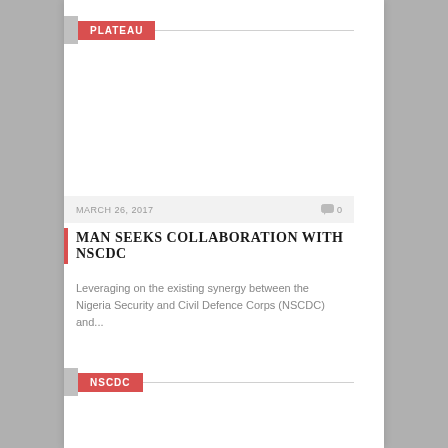PLATEAU
MARCH 26, 2017   0
MAN SEEKS COLLABORATION WITH NSCDC
Leveraging on the existing synergy between the Nigeria Security and Civil Defence Corps (NSCDC) and...
NSCDC